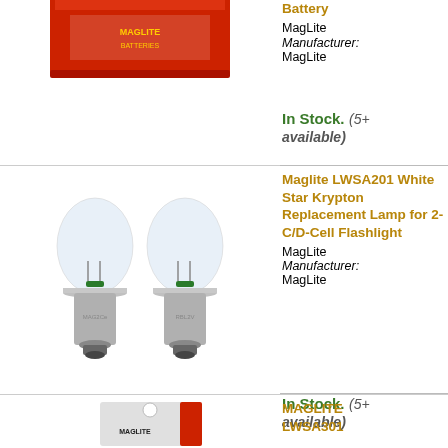[Figure (photo): Red battery box product image (partially visible, cropped at top)]
Battery
MagLite
Manufacturer:
MagLite
In Stock. (5+ available)
[Figure (photo): Two Maglite LWSA201 White Star Krypton replacement bulbs with silver metal bases on white background]
Maglite LWSA201 White Star Krypton Replacement Lamp for 2-C/D-Cell Flashlight
MagLite
Manufacturer:
MagLite
In Stock. (5+ available)
[Figure (photo): Maglite product card packaging (partially visible at bottom of page)]
MAGLITE
LWSA301